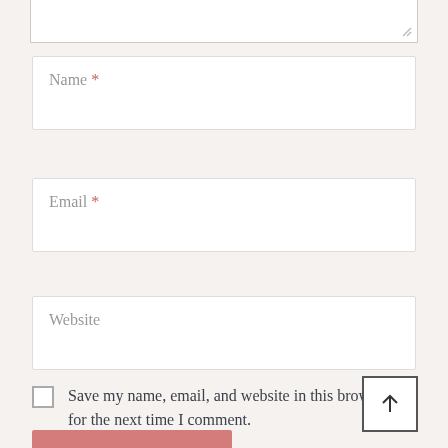[Figure (screenshot): Partial textarea input field at top of page (cropped)]
Name *
Email *
Website
Save my name, email, and website in this browser for the next time I comment.
[Figure (other): Back to top arrow button (square with upward arrow icon)]